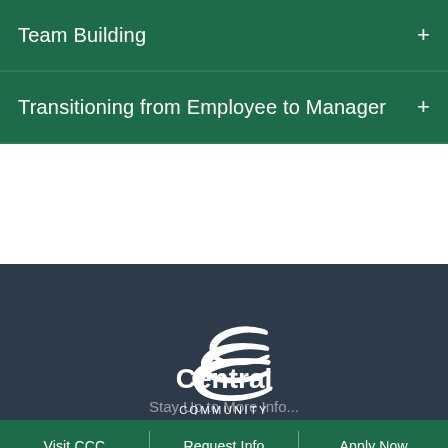Team Building +
Transitioning from Employee to Manager +
[Figure (logo): Central Community College logo with swoosh graphic on dark navy background]
Visit CCC | Request Info | Apply Now